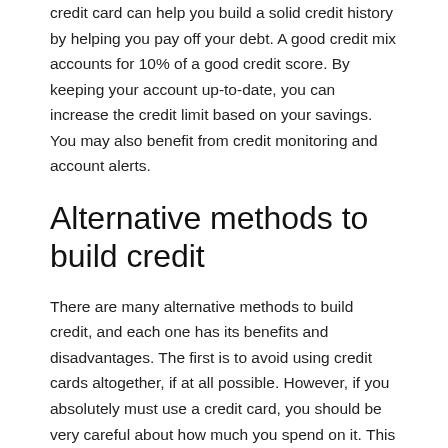credit card can help you build a solid credit history by helping you pay off your debt. A good credit mix accounts for 10% of a good credit score. By keeping your account up-to-date, you can increase the credit limit based on your savings. You may also benefit from credit monitoring and account alerts.
Alternative methods to build credit
There are many alternative methods to build credit, and each one has its benefits and disadvantages. The first is to avoid using credit cards altogether, if at all possible. However, if you absolutely must use a credit card, you should be very careful about how much you spend on it. This is because it will report to the credit bureaus. Another alternative method to build credit is to get a loan to pay for major purchases, such as a car or college tuition. Although you're not supposed to borrow money to build your credit, you'll likely need to have some sort of collateral for this method.